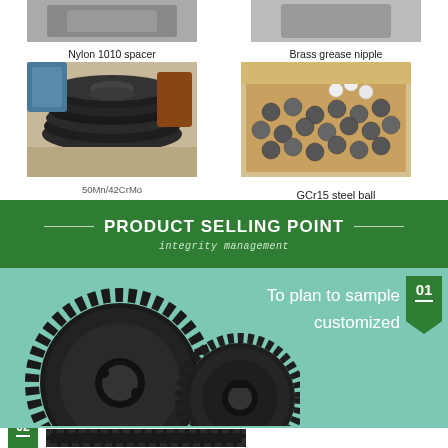[Figure (photo): 50Mn/42CrMo Carbon steel rings stacked on a surface]
50Mn/42CrMo
Carbon steel Ring
[Figure (photo): GCr15 steel balls in a cardboard box]
GCr15 steel ball
PRODUCT SELLING POINT
integrity management
[Figure (photo): Two dark metal spur gears, one large and one medium, shown on a teal background with text 'To plan to sample customized' and badge number 01]
To plan to sample customized
[Figure (photo): Gear teeth visible at bottom of page with green badge 02]